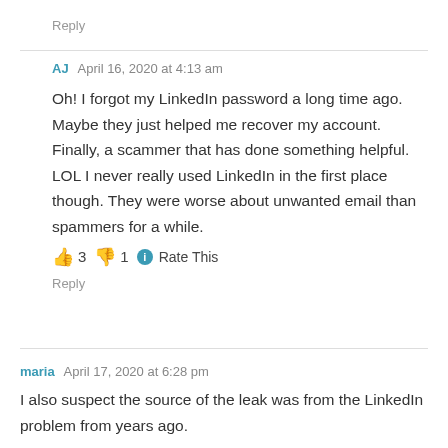Reply
AJ   April 16, 2020 at 4:13 am
Oh! I forgot my LinkedIn password a long time ago. Maybe they just helped me recover my account. Finally, a scammer that has done something helpful. LOL I never really used LinkedIn in the first place though. They were worse about unwanted email than spammers for a while.
👍 3 👎 1 ℹ Rate This
Reply
maria   April 17, 2020 at 6:28 pm
I also suspect the source of the leak was from the LinkedIn problem from years ago.